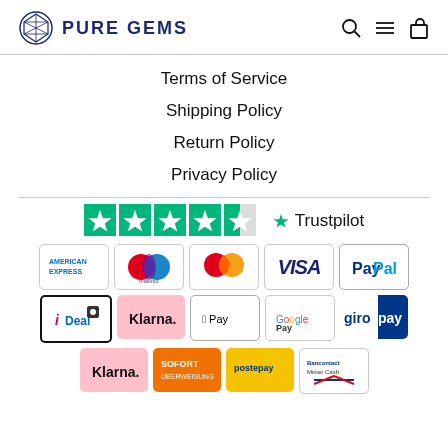PURE GEMS
Terms of Service
Shipping Policy
Return Policy
Privacy Policy
[Figure (logo): Trustpilot rating logo with 4.5 stars]
[Figure (infographic): Payment method logos: American Express, Maestro, Mastercard, Visa, PayPal, iDEAL, Klarna, Apple Pay, Google Pay, Giropay, Klarna (pink), SOFORT, Postepay, Bancontact Mister Cash]